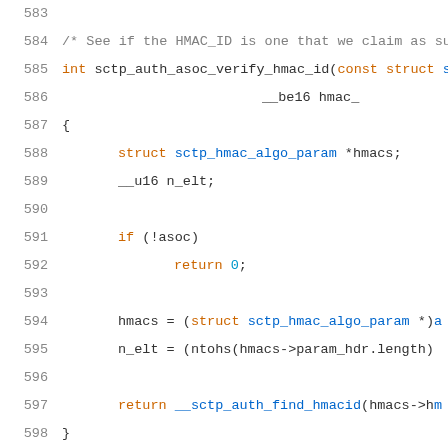[Figure (screenshot): Source code listing in C showing lines 583-604 of a Linux kernel SCTP authentication module. Lines include a function sctp_auth_asoc_verify_hmac_id, struct/variable declarations, conditional logic, and a comment block about caching the default HMAC id.]